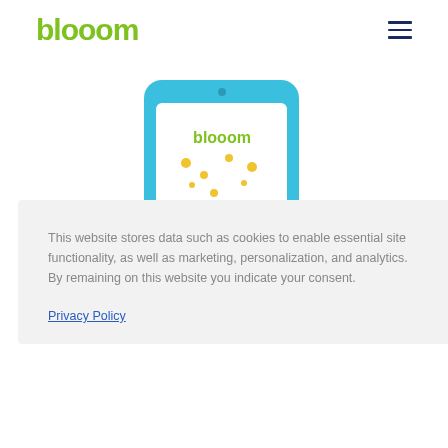blooom
[Figure (illustration): Blooom mobile app illustration showing a smartphone with the blooom logo, yellow dots, and colored bar chart segments at the bottom, rendered in blue tones]
This website stores data such as cookies to enable essential site functionality, as well as marketing, personalization, and analytics. By remaining on this website you indicate your consent.
Privacy Policy